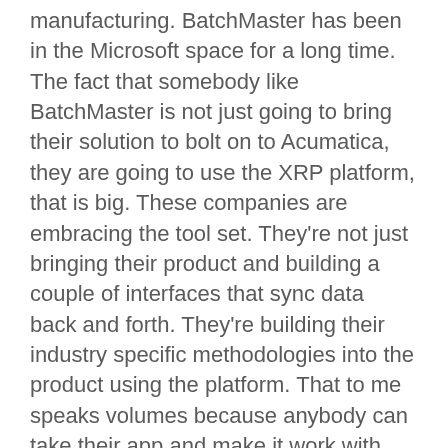manufacturing. BatchMaster has been in the Microsoft space for a long time. The fact that somebody like BatchMaster is not just going to bring their solution to bolt on to Acumatica, they are going to use the XRP platform, that is big. These companies are embracing the tool set. They're not just bringing their product and building a couple of interfaces that sync data back and forth. They're building their industry specific methodologies into the product using the platform. That to me speaks volumes because anybody can take their app and make it work with another solution. But these guys are going to jump in, bring their industry expertise into a product, use that tool set to create their product. That means it is going to be a more tightly integrated solution when they are finished. But it also means they are buying into more than just a relationship with the company. They are embracing everything